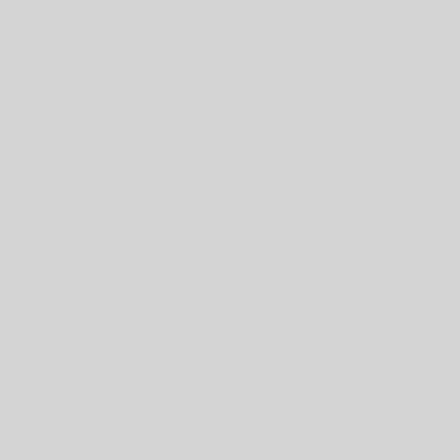implement all of t...
correct?
Loading...
accidentalsysadmi
Hi Richard,

Love the blog, literal... client who has a Dire... certificate authentica...

If I were to upgrade... any disruption to clie... 'Certiifcate Services –... (SHA256)' guide from...

There are over 2000... unnecessary downtim...